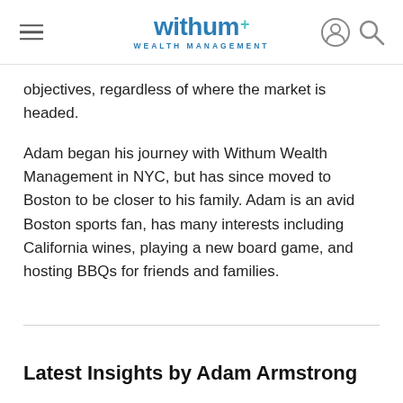withum+ WEALTH MANAGEMENT
objectives, regardless of where the market is headed.
Adam began his journey with Withum Wealth Management in NYC, but has since moved to Boston to be closer to his family. Adam is an avid Boston sports fan, has many interests including California wines, playing a new board game, and hosting BBQs for friends and families.
Latest Insights by Adam Armstrong